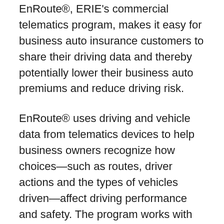EnRoute®, ERIE's commercial telematics program, makes it easy for business auto insurance customers to share their driving data and thereby potentially lower their business auto premiums and reduce driving risk.
EnRoute® uses driving and vehicle data from telematics devices to help business owners recognize how choices—such as routes, driver actions and the types of vehicles driven—affect driving performance and safety. The program works with more than 40 telematics service providers and nearly a dozen telematics-enabled vehicle manufacturers.
If you don't have telematics devices on your vehicles and you're interested in this technology, ERIE provides telematics devices at no charge to you. Talk to your local ERIE agent to see if your business is eligible.